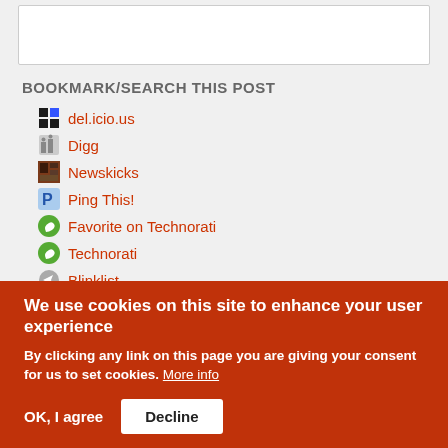BOOKMARK/SEARCH THIS POST
del.icio.us
Digg
Newskicks
Ping This!
Favorite on Technorati
Technorati
Blinklist
Furl
We use cookies on this site to enhance your user experience
By clicking any link on this page you are giving your consent for us to set cookies. More info
OK, I agree   Decline